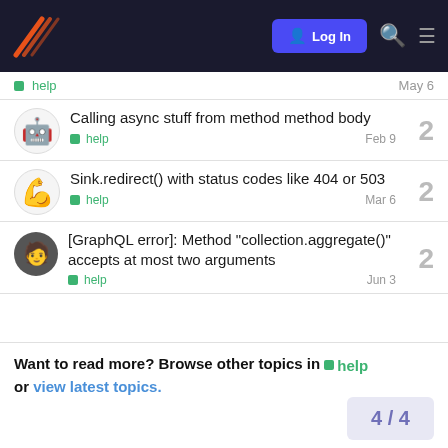Log In
help — May 6
Calling async stuff from method method body — help — Feb 9 — 2 replies
Sink.redirect() with status codes like 404 or 503 — help — Mar 6 — 2 replies
[GraphQL error]: Method "collection.aggregate()" accepts at most two arguments — help — Jun 3 — 2 replies
Want to read more? Browse other topics in help or view latest topics.
4 / 4